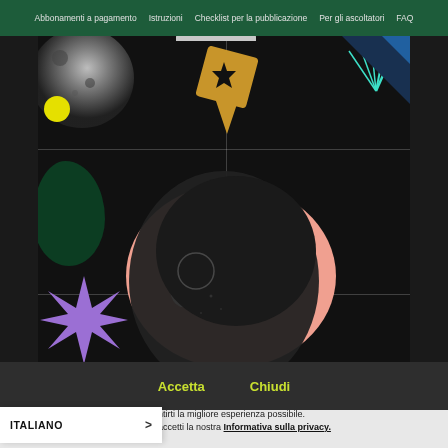Abbonamenti a pagamento  Istruzioni  Checklist per la pubblicazione  Per gli ascoltatori  FAQ
[Figure (illustration): Dark collage-style illustration featuring a grayscale profile of a person's face/head on a pink oval background, surrounded by abstract geometric shapes: a moon texture top-left, yellow circle, dark green blob, purple star burst, teal radiating lines, blue triangle top-right, orange diamond shape center-top, white semi-circle bottom, pink gradient blob bottom-right. Grid lines divide the composition into sections.]
Accetta    Chiudi
ntirti la migliore esperienza possibile. accetti la nostra Informativa sulla privacy.
ITALIANO >